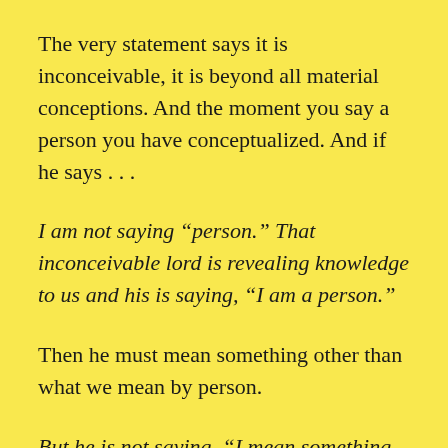The very statement says it is inconceivable, it is beyond all material conceptions. And the moment you say a person you have conceptualized. And if he says . . .
I am not saying “person.” That inconceivable lord is revealing knowledge to us and his is saying, “I am a person.”
Then he must mean something other than what we mean by person.
But he is not saying, “I mean something else.”
No, no. He is not saying anything at all. He is just saying